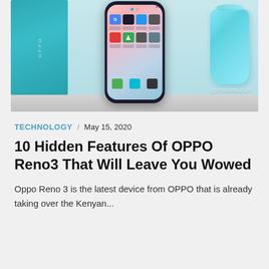[Figure (photo): Photo of OPPO Reno3 smartphone standing upright on a table, with a teal OPPO box on the left and a blue glass cup on the right. The phone screen shows app icons. Watermark reads gsmarena.com.]
TECHNOLOGY / May 15, 2020
10 Hidden Features Of OPPO Reno3 That Will Leave You Wowed
Oppo Reno 3 is the latest device from OPPO that is already taking over the Kenyan...